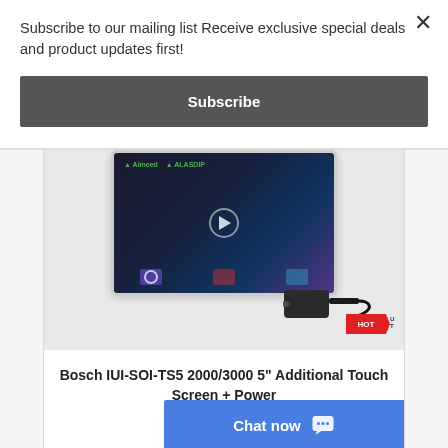Subscribe to our mailing list Receive exclusive special deals and product updates first!
Subscribe
[Figure (screenshot): Product image showing a 5-inch touch screen (tablet-like device with dark interface) and a power supply unit below it, with a red price badge in the corner. Background is light gray.]
Bosch IUI-SOI-TS5 2000/3000 5" Additional Touch Screen + Power
(IUI-SOL-TS5-P)
Chat now